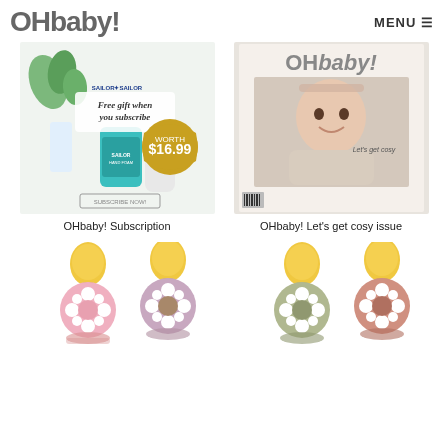OHbaby! MENU
[Figure (photo): OHbaby! Subscription promo image showing hand cream product with 'Free gift when you subscribe' text and $16.99 price badge]
OHbaby! Subscription
[Figure (photo): OHbaby! Let's get cosy issue magazine cover showing a smiling baby in beige outfit]
OHbaby! Let's get cosy issue
[Figure (photo): Two BIBS pacifiers in pink and mauve/purple colors with yellow handles]
[Figure (photo): Two BIBS pacifiers in olive/sage and terracotta/blush colors with yellow handles]